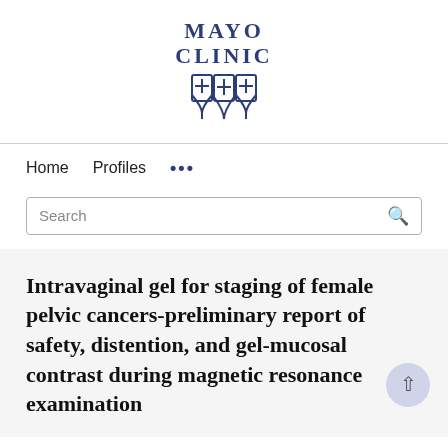[Figure (logo): Mayo Clinic logo with shield emblem and text 'MAYO CLINIC' in bold serif letters above a blue shield/cross graphic]
Home   Profiles   ...
Search
Intravaginal gel for staging of female pelvic cancers-preliminary report of safety, distention, and gel-mucosal contrast during magnetic resonance examination